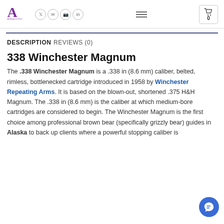alphaguncenter logo, social icons, hamburger menu, cart (0)
DESCRIPTION
REVIEWS (0)
338 Winchester Magnum
The .338 Winchester Magnum is a .338 in (8.6 mm) caliber, belted, rimless, bottlenecked cartridge introduced in 1958 by Winchester Repeating Arms. It is based on the blown-out, shortened .375 H&H Magnum. The .338 in (8.6 mm) is the caliber at which medium-bore cartridges are considered to begin. The Winchester Magnum is the first choice among professional brown bear (specifically grizzly bear) guides in Alaska to back up clients where a powerful stopping caliber is